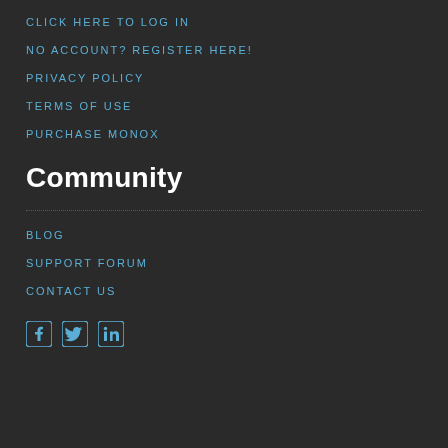CLICK HERE TO LOG IN
NO ACCOUNT? REGISTER HERE!
PRIVACY POLICY
TERMS OF USE
PURCHASE MONOX
Community
BLOG
SUPPORT FORUM
CONTACT US
[Figure (illustration): Social media icons: Facebook, Twitter, LinkedIn]